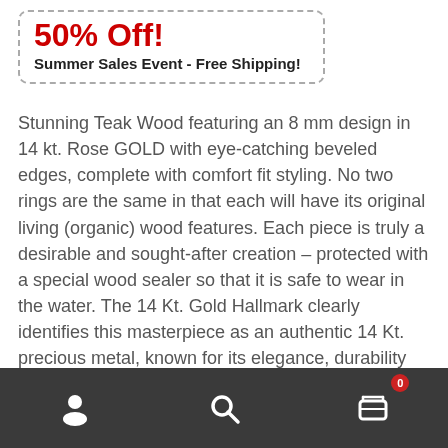50% Off!
Summer Sales Event - Free Shipping!
Stunning Teak Wood featuring an 8 mm design in 14 kt. Rose GOLD with eye-catching beveled edges, complete with comfort fit styling. No two rings are the same in that each will have its original living (organic) wood features. Each piece is truly a desirable and sought-after creation – protected with a special wood sealer so that it is safe to wear in the water. The 14 Kt. Gold Hallmark clearly identifies this masterpiece as an authentic 14 Kt. precious metal, known for its elegance, durability and longevity.
Detailed Product Information:
Navigation bar with user, search, and cart icons